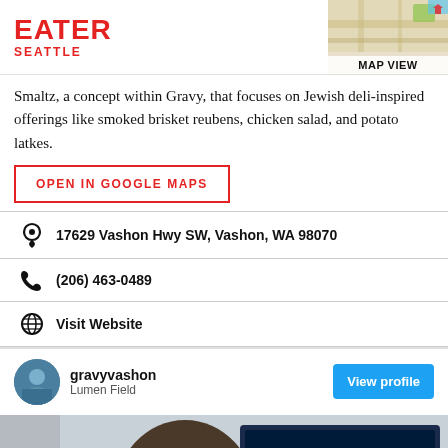EATER SEATTLE
Smaltz, a concept within Gravy, that focuses on Jewish deli-inspired offerings like smoked brisket reubens, chicken salad, and potato latkes.
OPEN IN GOOGLE MAPS
17629 Vashon Hwy SW, Vashon, WA 98070
(206) 463-0489
Visit Website
gravyvashon
Lumen Field
[Figure (photo): A man with close-cropped hair photographed from above/side angle, with a Bud Light sign visible in the background, likely at a stadium venue.]